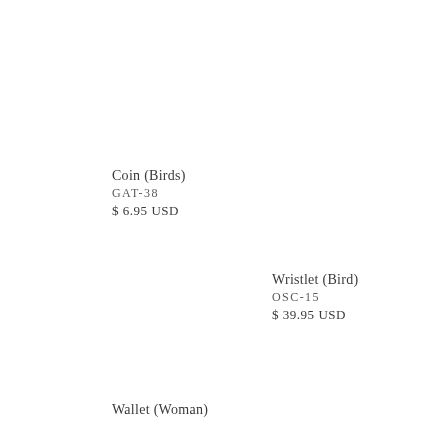Coin (Birds)
GAT-38
$ 6.95 USD
Wristlet (Bird)
OSC-15
$ 39.95 USD
Wallet (Woman)